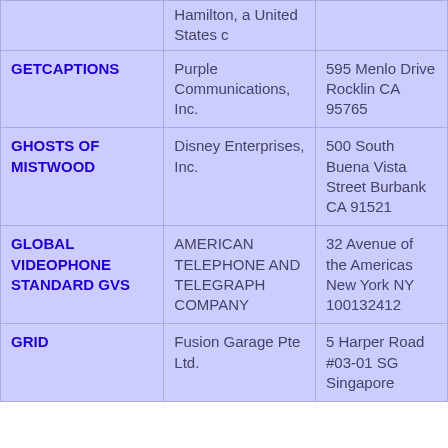| Mark | Owner | Address |
| --- | --- | --- |
|  | Hamilton, a United States c |  |
| GETCAPTIONS | Purple Communications, Inc. | 595 Menlo Drive Rocklin CA 95765 |
| GHOSTS OF MISTWOOD | Disney Enterprises, Inc. | 500 South Buena Vista Street Burbank CA 91521 |
| GLOBAL VIDEOPHONE STANDARD GVS | AMERICAN TELEPHONE AND TELEGRAPH COMPANY | 32 Avenue of the Americas New York NY 100132412 |
| GRID | Fusion Garage Pte Ltd. | 5 Harper Road #03-01 SG Singapore |